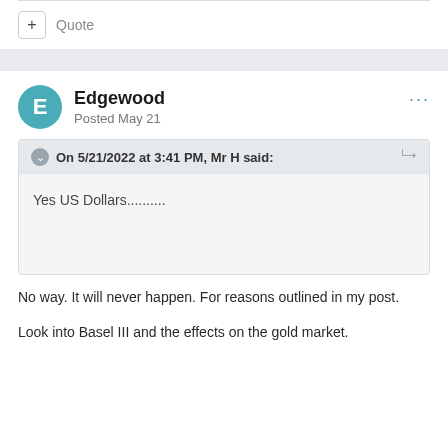+ Quote
Edgewood
Posted May 21
On 5/21/2022 at 3:41 PM, Mr H said:
Yes US Dollars..........
No way. It will never happen. For reasons outlined in my post.
Look into Basel III and the effects on the gold market.